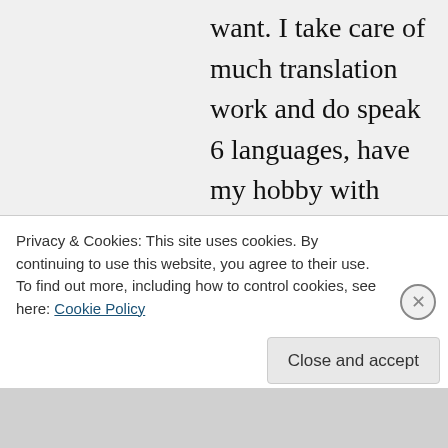want. I take care of much translation work and do speak 6 languages, have my hobby with digital art and write poems as well, you can be sure that is not much extra time left. So I hope that you understand it, dear Sakshi. Do not be sad, my friend, your nomination is an honour for me and I would like to honour you with good thoughts of mine. Stay happy and with a happy smile on your lips. I will come to your blog every now and
Privacy & Cookies: This site uses cookies. By continuing to use this website, you agree to their use.
To find out more, including how to control cookies, see here: Cookie Policy
Close and accept